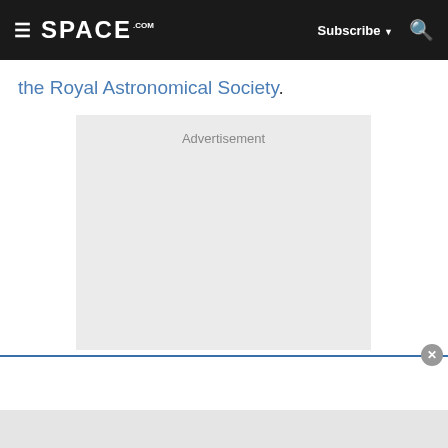SPACE.com | Subscribe | Search
the Royal Astronomical Society.
[Figure (other): Advertisement placeholder box with light gray background and 'Advertisement' label at top center]